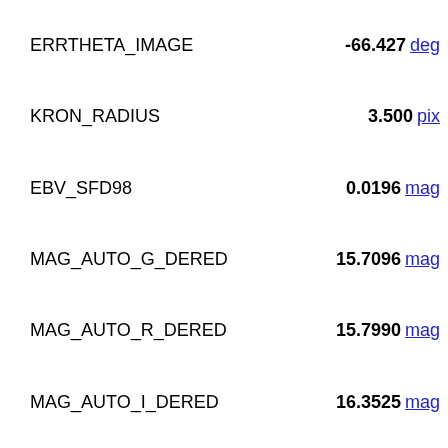ERRTHETA_IMAGE  -66.427 deg
KRON_RADIUS  3.500 pix
EBV_SFD98  0.0196 mag
MAG_AUTO_G_DERED  15.7096 mag
MAG_AUTO_R_DERED  15.7990 mag
MAG_AUTO_I_DERED  16.3525 mag